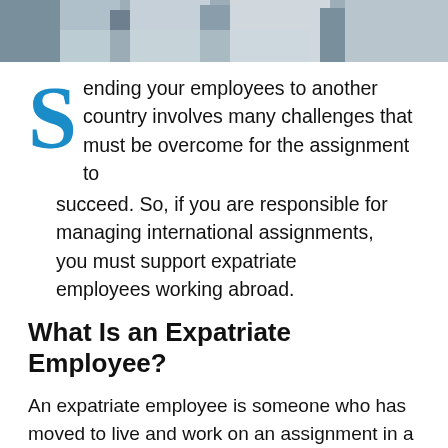[Figure (photo): Photo of people in a business/office setting, cropped at top of page]
Sending your employees to another country involves many challenges that must be overcome for the assignment to succeed. So, if you are responsible for managing international assignments, you must support expatriate employees working abroad.
What Is an Expatriate Employee?
An expatriate employee is someone who has moved to live and work on an assignment in a foreign country. Expatriate workers are often highly skilled and may work independently or on the orders of their companies.